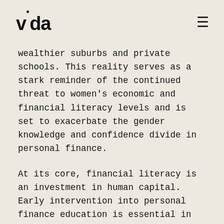vida
wealthier suburbs and private schools. This reality serves as a stark reminder of the continued threat to women's economic and financial literacy levels and is set to exacerbate the gender knowledge and confidence divide in personal finance.
At its core, financial literacy is an investment in human capital. Early intervention into personal finance education is essential in ensuring that the next generation of young Australians – particularly young women – can develop a healthy and sustainable relationship with money that will alleviate the risks of financial